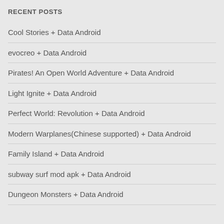RECENT POSTS
Cool Stories + Data Android
evocreo + Data Android
Pirates! An Open World Adventure + Data Android
Light Ignite + Data Android
Perfect World: Revolution + Data Android
Modern Warplanes(Chinese supported) + Data Android
Family Island + Data Android
subway surf mod apk + Data Android
Dungeon Monsters + Data Android